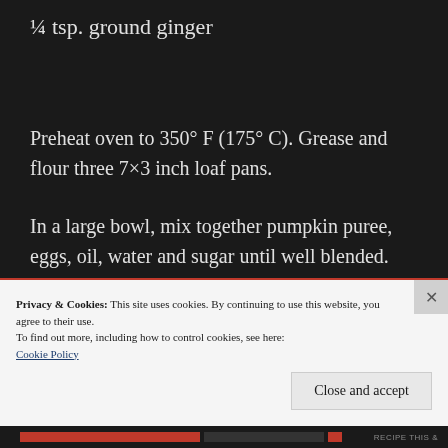¼ tsp. ground ginger
Preheat oven to 350° F (175° C). Grease and flour three 7×3 inch loaf pans.
In a large bowl, mix together pumpkin puree, eggs, oil, water and sugar until well blended.
Privacy & Cookies: This site uses cookies. By continuing to use this website, you agree to their use.
To find out more, including how to control cookies, see here: Cookie Policy